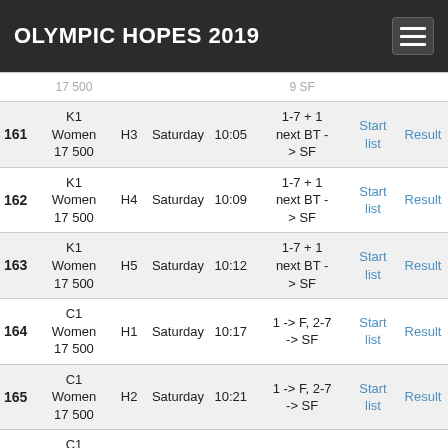OLYMPIC HOPES 2019
| # | Event | Heat | Day | Time | Qualification | Start list | Result |
| --- | --- | --- | --- | --- | --- | --- | --- |
| 161 | K1 Women 17 500 | H3 | Saturday | 10:05 | 1-7 + 1 next BT -> SF | Start list | Result |
| 162 | K1 Women 17 500 | H4 | Saturday | 10:09 | 1-7 + 1 next BT -> SF | Start list | Result |
| 163 | K1 Women 17 500 | H5 | Saturday | 10:12 | 1-7 + 1 next BT -> SF | Start list | Result |
| 164 | C1 Women 17 500 | H1 | Saturday | 10:17 | 1 -> F, 2-7 -> SF | Start list | Result |
| 165 | C1 Women 17 500 | H2 | Saturday | 10:21 | 1 -> F, 2-7 -> SF | Start list | Result |
| 166 | C1 Women 17 500 | H3 | Saturday | 10:22 | 1 -> F, 2-7 -> SF | Start list | Result |